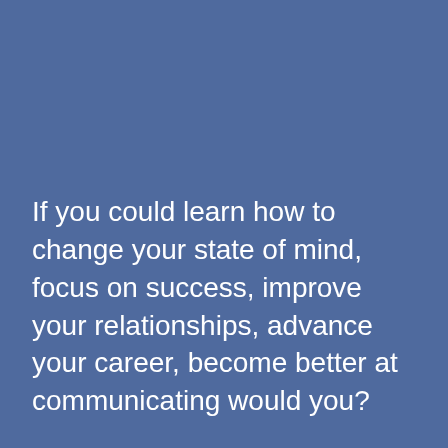If you could learn how to change your state of mind, focus on success, improve your relationships, advance your career, become better at communicating would you?